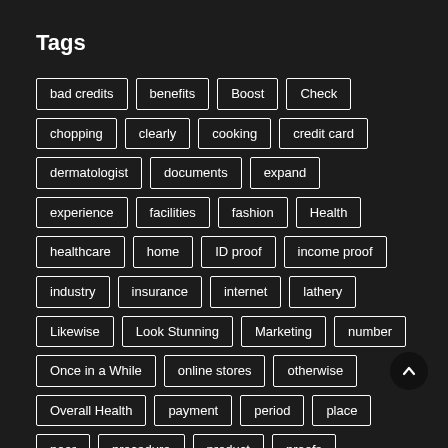Tags
bad credits
benefits
Boost
Check
chopping
clearly
cooking
credit card
dermatologist
documents
expand
experience
facilities
fashion
Health
healthcare
home
ID proof
income proof
industry
insurance
internet
lathery
Likewise
Look Stunning
Marketing
number
Once in a While
online stores
otherwise
Overall Health
payment
period
place
poor
procedure
product
proofs